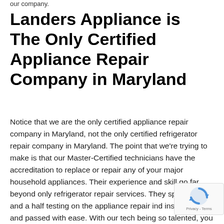our company.
Landers Appliance is The Only Certified Appliance Repair Company in Maryland
Notice that we are the only certified appliance repair company in Maryland, not the only certified refrigerator repair company in Maryland. The point that we're trying to make is that our Master-Certified technicians have the accreditation to replace or repair any of your major household appliances. Their experience and skill go far beyond only refrigerator repair services. They spent a day and a half testing on the appliance repair ind ins and outs and passed with ease. With our tech being so talented, you can rely on them coming to
[Figure (logo): reCAPTCHA badge with spinning arrows logo and Privacy-Terms text]